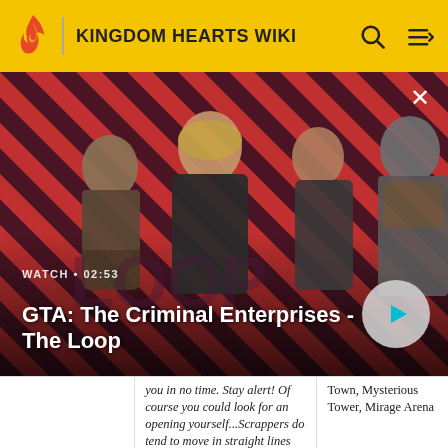KINGDOM HEARTS WIKI
[Figure (screenshot): GTA: The Criminal Enterprises - The Loop video thumbnail with red diagonal stripe background showing game characters, WATCH • 02:53 label, play button, and close button]
GTA: The Criminal Enterprises - The Loop
you in no time. Stay alert! Of course you could look for an opening yourself...Scrappers do tend to move in straight lines
Town, Mysterious Tower, Mirage Arena